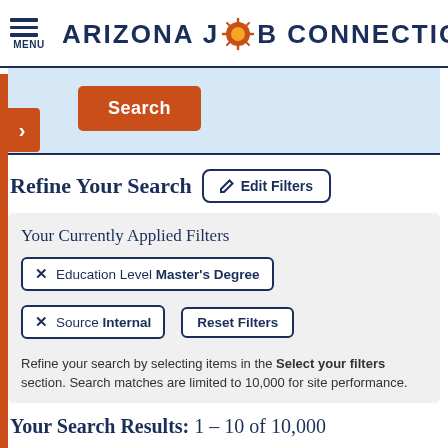ARIZONA JOB CONNECTION
[Figure (screenshot): Search button on light blue background]
Refine Your Search
Your Currently Applied Filters
× Education Level Master's Degree
× Source Internal  Reset Filters
Refine your search by selecting items in the Select your filters section. Search matches are limited to 10,000 for site performance.
Your Search Results: 1 – 10 of 10,000